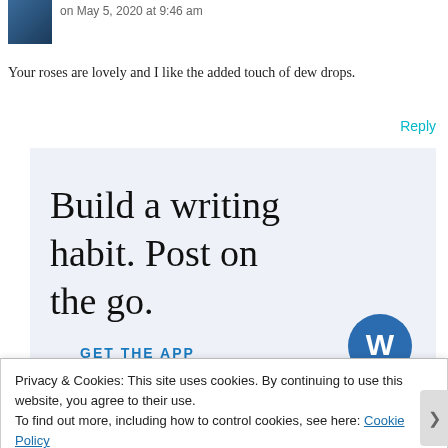on May 5, 2020 at 9:46 am
Your roses are lovely and I like the added touch of dew drops.
Reply
[Figure (infographic): WordPress app advertisement with light blue background. Large serif text reads 'Build a writing habit. Post on the go.' Below is 'GET THE APP' in bold teal uppercase letters, and a WordPress logo icon (blue circle with W) on the right.]
Privacy & Cookies: This site uses cookies. By continuing to use this website, you agree to their use.
To find out more, including how to control cookies, see here: Cookie Policy
Close and accept